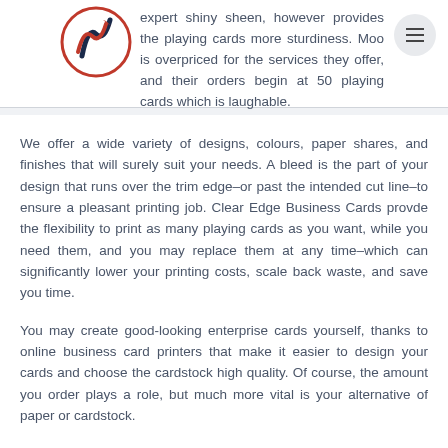expert shiny sheen, however provides the playing cards more sturdiness. Moo is overpriced for the services they offer, and their orders begin at 50 playing cards which is laughable.
[Figure (logo): Circular logo with dark navy and red upward arrows]
We offer a wide variety of designs, colours, paper shares, and finishes that will surely suit your needs. A bleed is the part of your design that runs over the trim edge–or past the intended cut line–to ensure a pleasant printing job. Clear Edge Business Cards provde the flexibility to print as many playing cards as you want, while you need them, and you may replace them at any time–which can significantly lower your printing costs, scale back waste, and save you time.
You may create good-looking enterprise cards yourself, thanks to online business card printers that make it easier to design your cards and choose the cardstock high quality. Of course, the amount you order plays a role, but much more vital is your alternative of paper or cardstock.
Whereas such playing cards may be satisfactory under